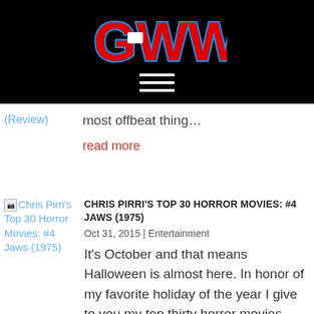[Figure (logo): GWW logo in red letters with blue outline on black background]
[Figure (other): Hamburger menu icon (three white horizontal lines) on black background]
(Review)
most offbeat thing…
read more
[Figure (other): Thumbnail image for Chris Pirri's Top 30 Horror Movies: #4 Jaws (1975)]
Chris Pirri's Top 30 Horror Movies: #4 Jaws (1975)
CHRIS PIRRI'S TOP 30 HORROR MOVIES: #4 JAWS (1975)
Oct 31, 2015 | Entertainment
It's October and that means Halloween is almost here. In honor of my favorite holiday of the year I give to you my top thirty horror movies. Now